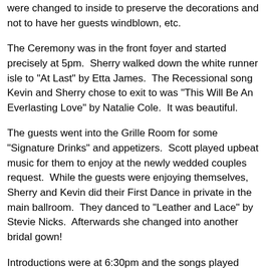were changed to inside to preserve the decorations and not to have her guests windblown, etc.
The Ceremony was in the front foyer and started precisely at 5pm.  Sherry walked down the white runner isle to "At Last" by Etta James.  The Recessional song Kevin and Sherry chose to exit to was "This Will Be An Everlasting Love" by Natalie Cole.  It was beautiful.
The guests went into the Grille Room for some "Signature Drinks" and appetizers.  Scott played upbeat music for them to enjoy at the newly wedded couples request.  While the guests were enjoying themselves, Sherry and Kevin did their First Dance in private in the main ballroom.  They danced to "Leather and Lace" by Stevie Nicks.  Afterwards she changed into another bridal gown!
Introductions were at 6:30pm and the songs played were "I Gotta Feeling" BEP, "I'm Too Sexy"- Right Said Fred and "Simply The Best" Tina Turner for the newly married couple.  The Toasts and dinner (which was delicious) was completed and we got right into the party with the open dancing!  Later, there was the Cake cutting along with an Ice Cream Bar...